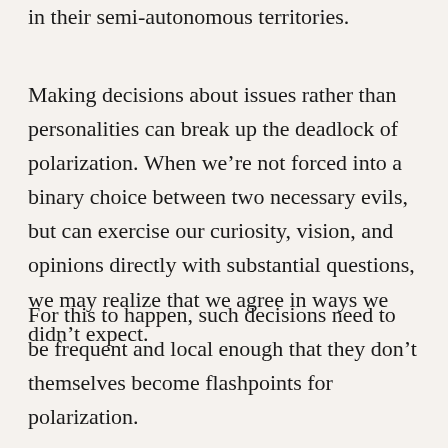in their semi-autonomous territories.
Making decisions about issues rather than personalities can break up the deadlock of polarization. When we’re not forced into a binary choice between two necessary evils, but can exercise our curiosity, vision, and opinions directly with substantial questions, we may realize that we agree in ways we didn’t expect.
For this to happen, such decisions need to be frequent and local enough that they don’t themselves become flashpoints for polarization.